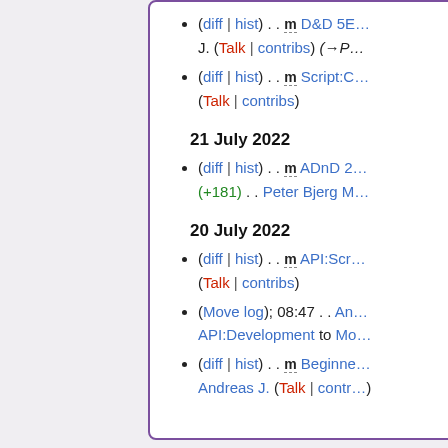(diff | hist) . . m D&D 5E... J. (Talk | contribs) (→P...
(diff | hist) . . m Script:C... (Talk | contribs)
21 July 2022
(diff | hist) . . m ADnD 2... (+181) . . Peter Bjerg M...
20 July 2022
(diff | hist) . . m API:Scr... (Talk | contribs)
(Move log); 08:47 . . An... API:Development to Mo...
(diff | hist) . . m Beginne... Andreas J. (Talk | contr...